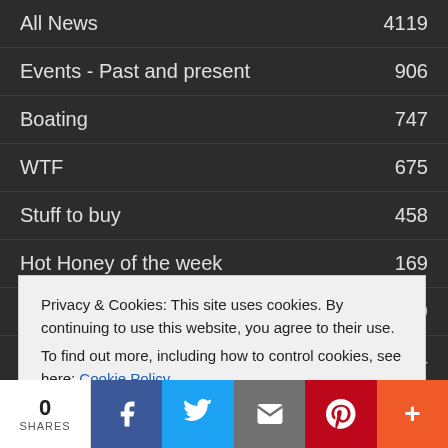All News  4119
Events - Past and present  906
Boating  747
WTF  675
Stuff to buy  458
Hot Honey of the week  169
Sexy  159
Sports  134
Privacy & Cookies: This site uses cookies. By continuing to use this website, you agree to their use.
To find out more, including how to control cookies, see here: Cookie Policy
Close and accept
0
SHARES